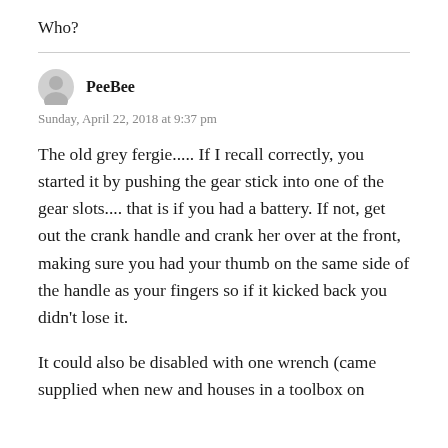Who?
PeeBee
Sunday, April 22, 2018 at 9:37 pm
The old grey fergie..... If I recall correctly, you started it by pushing the gear stick into one of the gear slots.... that is if you had a battery. If not, get out the crank handle and crank her over at the front, making sure you had your thumb on the same side of the handle as your fingers so if it kicked back you didn't lose it.
It could also be disabled with one wrench (came supplied when new and houses in a toolbox on